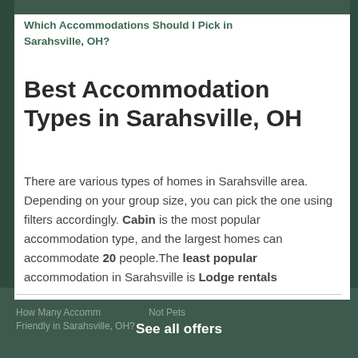Which Accommodations Should I Pick in Sarahsville, OH?
Best Accommodation Types in Sarahsville, OH
There are various types of homes in Sarahsville area. Depending on your group size, you can pick the one using filters accordingly. Cabin is the most popular accommodation type, and the largest homes can accommodate 20 people.The least popular accommodation in Sarahsville is Lodge rentals
See all offers